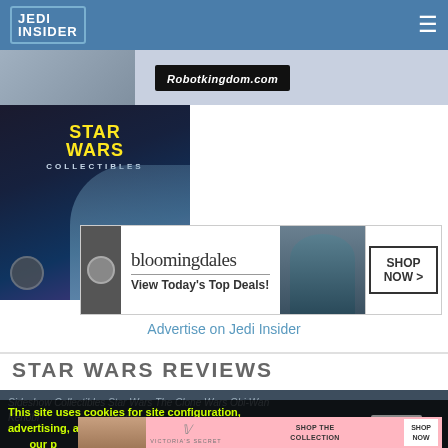Jedi Insider
[Figure (photo): Top ad strip with partial image and Robotkingdom.com advertisement]
[Figure (illustration): Star Wars Collectibles advertisement with Boba Fett imagery]
[Figure (illustration): Bloomingdales advertisement - View Today's Top Deals! SHOP NOW]
Advertise on Jedi Insider
STAR WARS REVIEWS
Sideshow Collectibles Star Wars The Clone Wars Obi-Wan Kenobi... images
This site uses cookies for site configuration, advertising, and analysis. By using this site you accept our p[olicy]
[Figure (illustration): Victoria's Secret SHOP THE COLLECTION SHOP NOW advertisement]